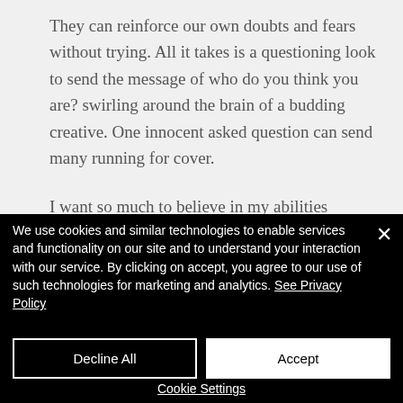They can reinforce our own doubts and fears without trying. All it takes is a questioning look to send the message of who do you think you are? swirling around the brain of a budding creative. One innocent asked question can send many running for cover.
I want so much to believe in my abilities
[Figure (screenshot): Cookie consent overlay on a dark black background with close button (×), descriptive text about cookies and privacy policy, Decline All and Accept buttons, and Cookie Settings link at the bottom.]